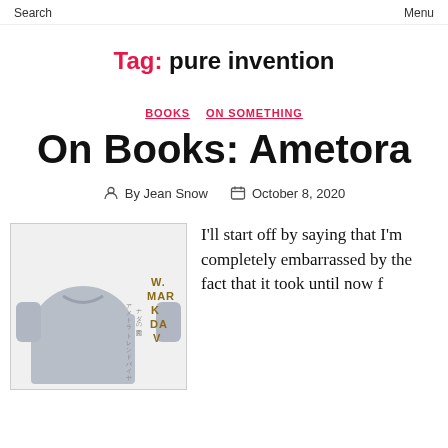Search   Menu
Tag: pure invention
BOOKS  ON SOMETHING
On Books: Ametora
By Jean Snow   October 8, 2020
[Figure (photo): Book cover of Ametora showing a grey sweatshirt on the left and text/title on the right with Japanese and English text including W. MARK DAV]
I'll start off by saying that I'm completely embarrassed by the fact that it took until now f